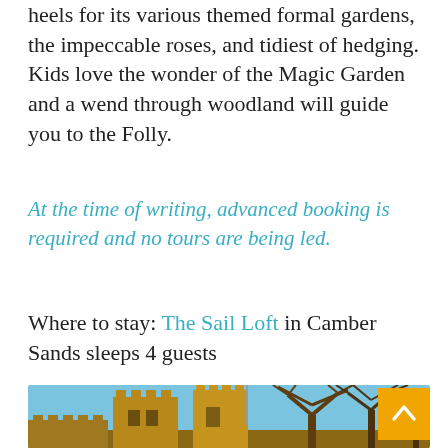heels for its various themed formal gardens, the impeccable roses, and tidiest of hedging. Kids love the wonder of the Magic Garden and a wend through woodland will guide you to the Folly.
At the time of writing, advanced booking is required and no tours are being led.
Where to stay: The Sail Loft in Camber Sands sleeps 4 guests
[Figure (photo): Photograph of a medieval castle ruin with crenellated towers made of golden-brown stone, against a blue sky, with bare winter trees on the right side.]